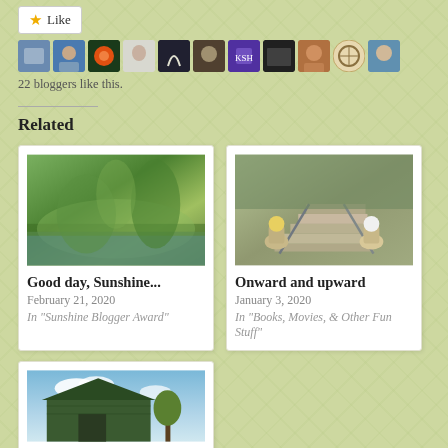[Figure (screenshot): Like button and blogger avatars row showing social interaction UI]
22 bloggers like this.
Related
[Figure (photo): Forest/nature scene with trees and water reflection - Good day, Sunshine... post thumbnail]
Good day, Sunshine...
February 21, 2020
In "Sunshine Blogger Award"
[Figure (photo): Garden stairs with stone urns and flowers - Onward and upward post thumbnail]
Onward and upward
January 3, 2020
In "Books, Movies, & Other Fun Stuff"
[Figure (photo): Green barn building with sky background - third related post thumbnail]